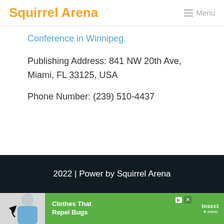Squirrel Arena  Menu
Conference in Winnipeg.
Publishing Address: 841 NW 20th Ave, Miami, FL 33125, USA
Phone Number: (239) 510-4437
2022 | Power by Squirrel Arena
[Figure (photo): Advertisement banner for Insect Shield featuring a woman in blue clothing with text 'Clothes That Repel Bugs insect shield']